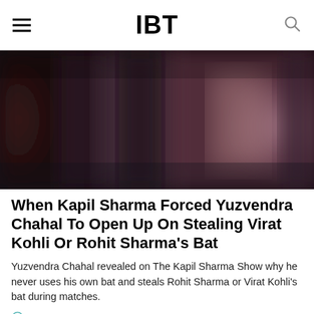IBT
[Figure (photo): Blurred/bokeh background photo with dark and muted mauve/purple tones, appears to show figures in a dark setting]
When Kapil Sharma Forced Yuzvendra Chahal To Open Up On Stealing Virat Kohli Or Rohit Sharma's Bat
Yuzvendra Chahal revealed on The Kapil Sharma Show why he never uses his own bat and steals Rohit Sharma or Virat Kohli's bat during matches.
Jan 9, 2020